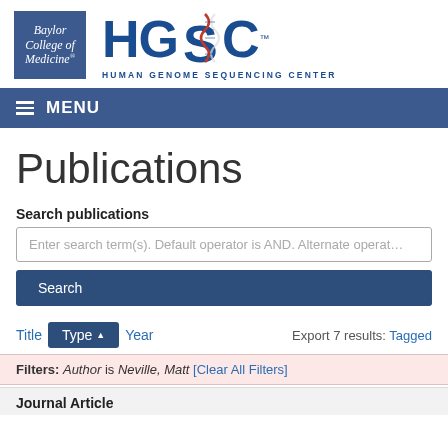[Figure (logo): Baylor College of Medicine logo (blue square) and HGSC Human Genome Sequencing Center logo with DNA helix graphic]
MENU
Publications
Search publications
Enter search term(s). Default operator is AND. Alternate operat…
Search
Title  Type▲  Year  Export 7 results: Tagged
Filters: Author is Neville, Matt [Clear All Filters]
Journal Article